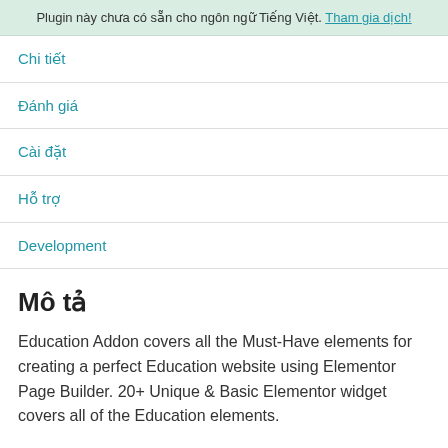Plugin này chưa có sẵn cho ngôn ngữ Tiếng Việt. Tham gia dịch!
Chi tiết
Đánh giá
Cài đặt
Hỗ trợ
Development
Mô tả
Education Addon covers all the Must-Have elements for creating a perfect Education website using Elementor Page Builder. 20+ Unique & Basic Elementor widget covers all of the Education elements.